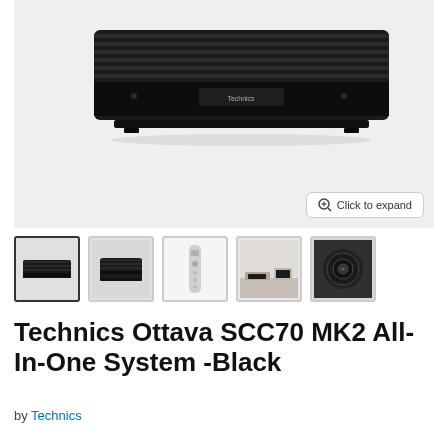[Figure (photo): Main product photo of Technics Ottava SCC70 MK2 All-In-One System in black, shown on light gray background. The device is a wide, flat black speaker system with horizontal ribbed grille design and a small display panel in the center. A 'Click to expand' zoom button appears in the lower right.]
[Figure (photo): Row of five thumbnail images of the product: 1) front view of the black device (selected/highlighted), 2) side/angle view of the device, 3) remote control, 4) lifestyle room setting, 5) close-up of speaker driver]
Technics Ottava SCC70 MK2 All-In-One System -Black
by Technics